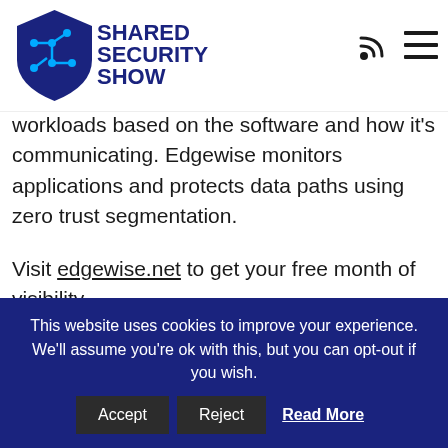Shared Security Show
workloads based on the software and how it's communicating. Edgewise monitors applications and protects data paths using zero trust segmentation.
Visit edgewise.net to get your free month of visibility.
It should be no surprise that if you have a Google Gmail account you already know that while you're signed into a Google account
This website uses cookies to improve your experience. We'll assume you're ok with this, but you can opt-out if you wish. Accept Reject Read More